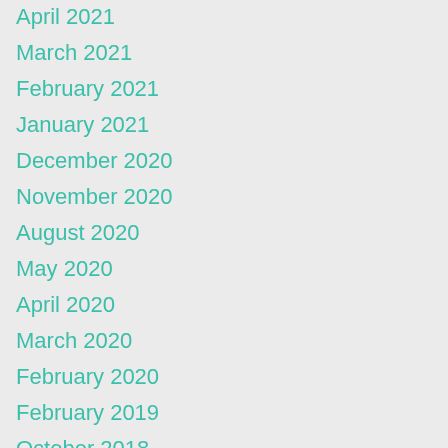April 2021
March 2021
February 2021
January 2021
December 2020
November 2020
August 2020
May 2020
April 2020
March 2020
February 2020
February 2019
October 2018